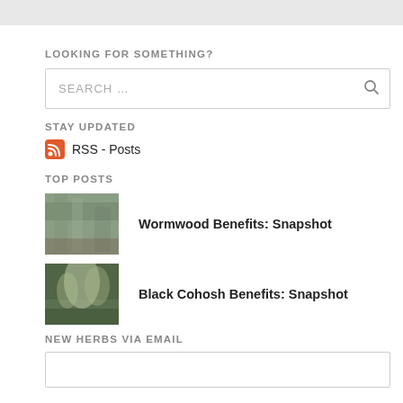LOOKING FOR SOMETHING?
SEARCH ...
STAY UPDATED
RSS - Posts
TOP POSTS
Wormwood Benefits: Snapshot
Black Cohosh Benefits: Snapshot
NEW HERBS VIA EMAIL